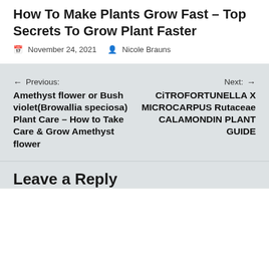How To Make Plants Grow Fast – Top Secrets To Grow Plant Faster
📅 November 24, 2021   👤 Nicole Brauns
← Previous: Amethyst flower or Bush violet(Browallia speciosa) Plant Care – How to Take Care & Grow Amethyst flower
Next: → CITROFORTUNELLA X MICROCARPUS Rutaceae CALAMONDIN PLANT GUIDE
Leave a Reply